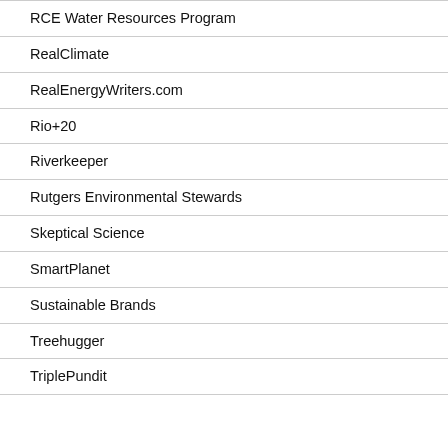RCE Water Resources Program
RealClimate
RealEnergyWriters.com
Rio+20
Riverkeeper
Rutgers Environmental Stewards
Skeptical Science
SmartPlanet
Sustainable Brands
Treehugger
TriplePundit